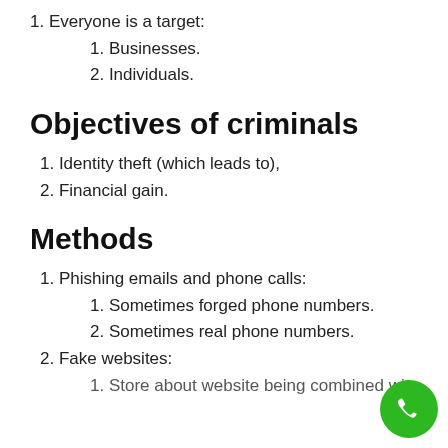1. Everyone is a target:
1. Businesses.
2. Individuals.
Objectives of criminals
1. Identity theft (which leads to),
2. Financial gain.
Methods
1. Phishing emails and phone calls:
1. Sometimes forged phone numbers.
2. Sometimes real phone numbers.
2. Fake websites:
1. Store about website being combined with...